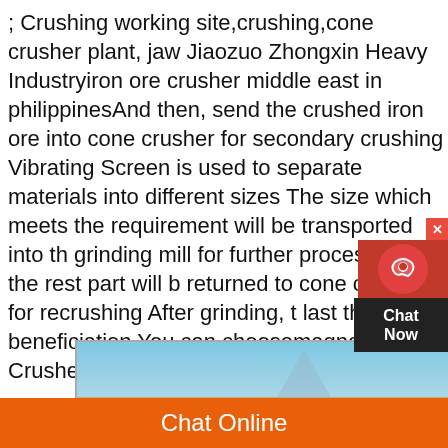; Crushing working site,crushing,cone crusher plant, jaw Jiaozuo Zhongxin Heavy Industryiron ore crusher middle east in philippinesAnd then, send the crushed iron ore into cone crusher for secondary crushing Vibrating Screen is used to separate materials into different sizes The size which meets the requirement will be transported into the grinding mill for further process, while the rest part will be returned to cone crusher for recrushing After grinding, the last thing is beneficiation You can choosemagneticCone Crusher Used in Pakistan Iron Ore Mining
[Figure (photo): Photo of a mining/crushing site with yellow conveyor belts and machinery against a blue sky. MineVik watermark visible on the image.]
Chat Online